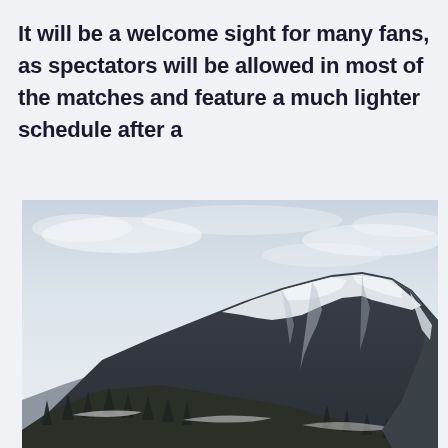It will be a welcome sight for many fans, as spectators will be allowed in most of the matches and feature a much lighter schedule after a
[Figure (photo): A snow-covered mountain peak with conifer trees on the lower slopes against an overcast sky]